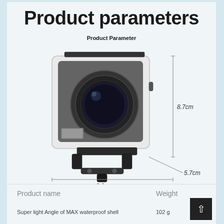Product parameters
Product Parameter
[Figure (photo): Action camera in a transparent waterproof housing with mounting bracket, shown with dimension annotations: 8.7cm height, 5.7cm depth, 8.8cm width]
| Product name | Weight |
| --- | --- |
| Super light Angle of MAX waterproof shell | 102 g |